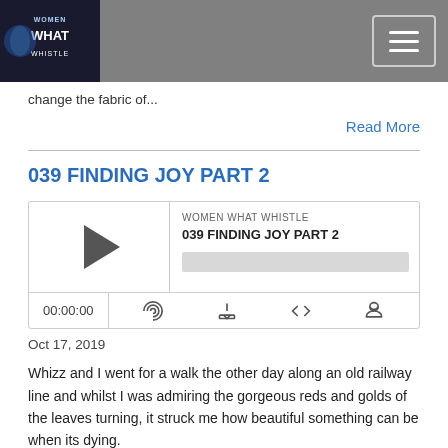Women What Whistle
change the fabric of...
Read More
039 FINDING JOY PART 2
[Figure (other): Podcast audio player showing Women What Whistle podcast, episode 039 FINDING JOY PART 2, with play button, progress bar, time display 00:00:00, and controls for RSS, download, embed, and share]
Oct 17, 2019
Whizz and I went for a walk the other day along an old railway line and whilst I was admiring the gorgeous reds and golds of the leaves turning, it struck me how beautiful something can be when its dying.
We so often look at loss as a negative, however the seasons